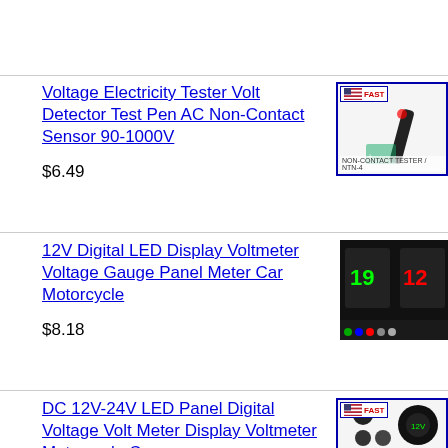Voltage Electricity Tester Volt Detector Test Pen AC Non-Contact Sensor 90-1000V
$6.49
[Figure (photo): Product image of voltage tester pen with FAST delivery badge and US flag]
12V Digital LED Display Voltmeter Voltage Gauge Panel Meter Car Motorcycle
$8.18
[Figure (photo): Product image of digital LED voltmeter panel meter, dark background with colored dot indicators]
DC 12V-24V LED Panel Digital Voltage Volt Meter Display Voltmeter Motorcycle Car
[Figure (photo): Product image of DC LED panel voltmeter with FAST delivery badge and US flag]